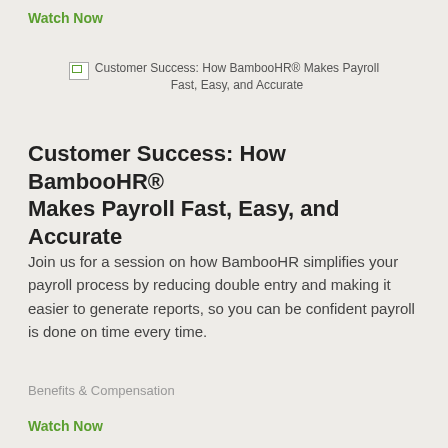Watch Now
[Figure (other): Thumbnail image placeholder with broken image icon and text: Customer Success: How BambooHR® Makes Payroll Fast, Easy, and Accurate]
Customer Success: How BambooHR® Makes Payroll Fast, Easy, and Accurate
Join us for a session on how BambooHR simplifies your payroll process by reducing double entry and making it easier to generate reports, so you can be confident payroll is done on time every time.
Benefits & Compensation
Watch Now